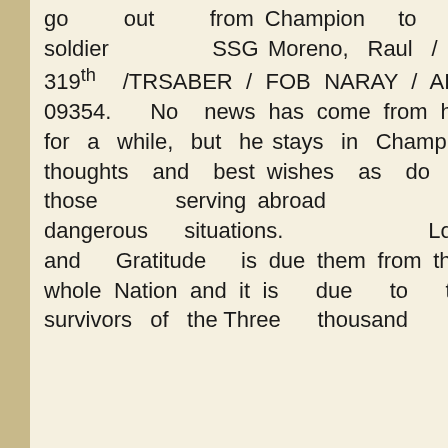go out from Champion to it's soldier SSG Moreno, Raul / 4-319th /TRSABER / FOB NARAY / APO 09354. No news has come from him for a while, but he stays in Champion thoughts and best wishes as do all those serving abroad in dangerous situations. Love and Gratitude is due them from their whole Nation and it is due to the survivors of the Three thousand